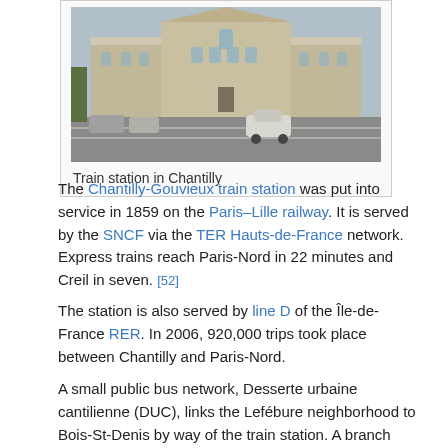[Figure (photo): Photograph of the train station in Chantilly, a large stone building with parking area and cars in the foreground]
Train station in Chantilly
The Chantilly-Gouvieux train station was put into service in 1859 on the Paris–Lille railway. It is served by the SNCF via the TER Hauts-de-France network. Express trains reach Paris-Nord in 22 minutes and Creil in seven. [52]
The station is also served by line D of the Île-de-France RER. In 2006, 920,000 trips took place between Chantilly and Paris-Nord.
A small public bus network, Desserte urbaine cantilienne (DUC), links the Lefébure neighborhood to Bois-St-Denis by way of the train station. A branch goes past the château and the Saint-Pierre cemetery. Passengers ride